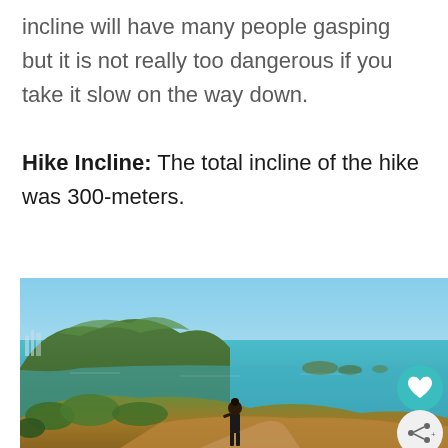incline will have many people gasping but it is not really too dangerous if you take it slow on the way down.

Hike Incline: The total incline of the hike was 300-meters.
[Figure (photo): A hiker standing on a hilltop trail overlooking a coastal seascape with green hills, turquoise water, and distant islands under a clear blue sky. Social sharing and heart/like buttons visible on the right side.]